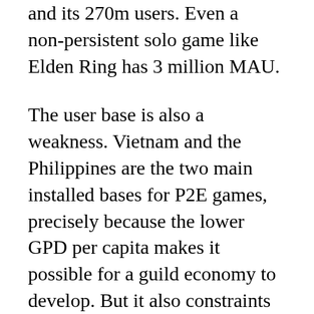and its 270m users. Even a non-persistent solo game like Elden Ring has 3 million MAU.
The user base is also a weakness. Vietnam and the Philippines are the two main installed bases for P2E games, precisely because the lower GPD per capita makes it possible for a guild economy to develop. But it also constraints opportunities for revenue per user. Compare it to the global gaming base, with a 40-40% US and China split (and 20% the rest of the world): it is a much richer pool. To expand beyond its core SEA markets, web3 gaming needs to raise entertainment value.